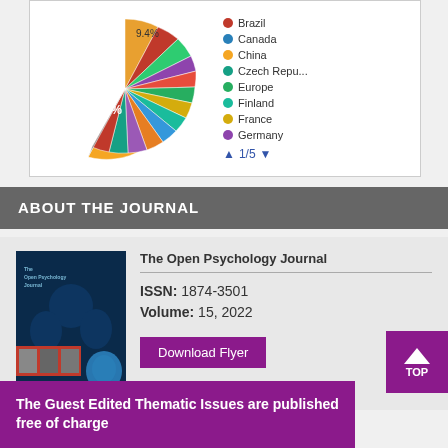[Figure (pie-chart): Readership by Country]
ABOUT THE JOURNAL
The Open Psychology Journal
ISSN: 1874-3501
Volume: 15, 2022
Download Flyer
The Guest Edited Thematic Issues are published free of charge